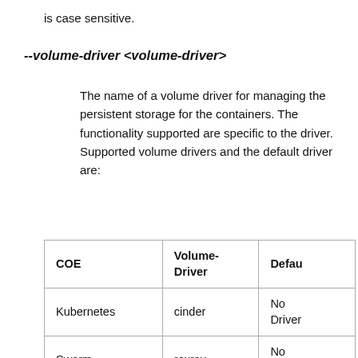is case sensitive.
--volume-driver <volume-driver>
The name of a volume driver for managing the persistent storage for the containers. The functionality supported are specific to the driver. Supported volume drivers and the default driver are:
| COE | Volume-Driver | Defau |
| --- | --- | --- |
| Kubernetes | cinder | No Driver |
| Swarm | rexray | No Driver |
| Mesos | rexray | No Driver |